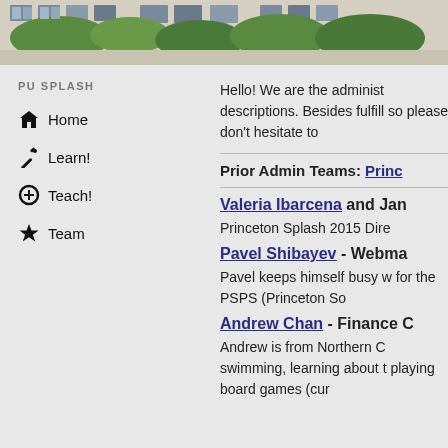[Figure (photo): Building exterior with windows and green trees/foliage]
PU SPLASH
Home
Learn!
Teach!
Team
Hello! We are the administ descriptions. Besides fulfill so please don't hesitate to
Prior Admin Teams: Princ
Valeria Ibarcena and Jan
Princeton Splash 2015 Dire
Pavel Shibayev - Webma
Pavel keeps himself busy w for the PSPS (Princeton So
Andrew Chan - Finance C
Andrew is from Northern C swimming, learning about t playing board games (cur